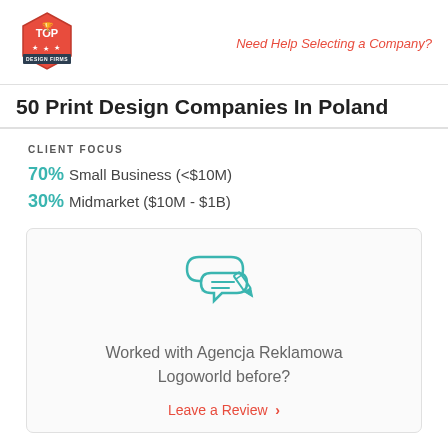Need Help Selecting a Company?
50 Print Design Companies In Poland
CLIENT FOCUS
70% Small Business (<$10M)
30% Midmarket ($10M - $1B)
[Figure (illustration): Chat/review icon: two overlapping speech bubbles with a pencil writing lines, in teal/green outline style]
Worked with Agencja Reklamowa Logoworld before?
Leave a Review >